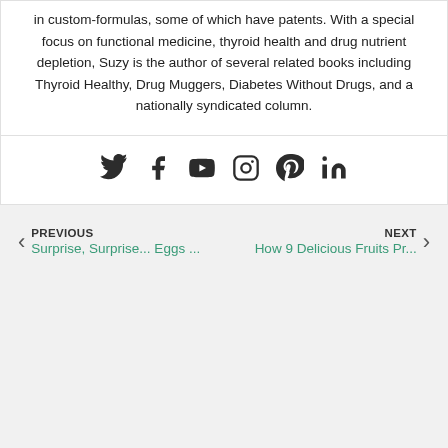in custom-formulas, some of which have patents. With a special focus on functional medicine, thyroid health and drug nutrient depletion, Suzy is the author of several related books including Thyroid Healthy, Drug Muggers, Diabetes Without Drugs, and a nationally syndicated column.
[Figure (other): Social media icons: Twitter, Facebook, YouTube, Instagram, Pinterest, LinkedIn]
PREVIOUS
Surprise, Surprise... Eggs ...
NEXT
How 9 Delicious Fruits Pr...